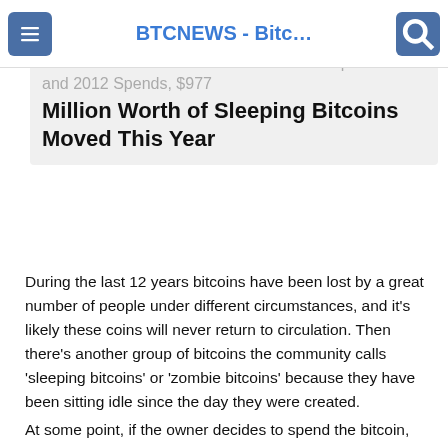BTCNEWS - Bitc…
Old School Whale Transfers From 2010 Outpace 2011 and 2012 Spends, $977 Million Worth of Sleeping Bitcoins Moved This Year
During the last 12 years bitcoins have been lost by a great number of people under different circumstances, and it's likely these coins will never return to circulation. Then there's another group of bitcoins the community calls 'sleeping bitcoins' or 'zombie bitcoins' because they have been sitting idle since the day they were created.
At some point, if the owner decides to spend the bitcoin, the 'sleeping bitcoins' wake from slumber after a number of years. Last year and this year, Bitcoin.com News has been monitoring old school block rewards that get spent years later, after discovering an extraordinary 2010 whale.
Following the spend on the 12th anniversary of Bitcoin (January